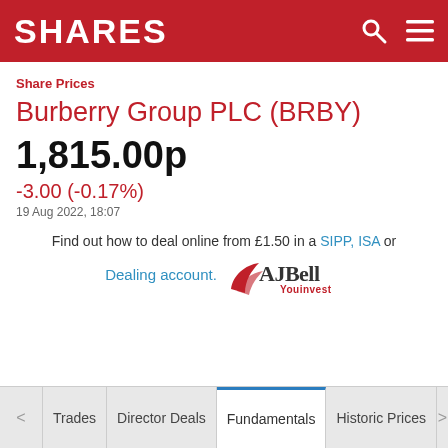SHARES
Share Prices
Burberry Group PLC (BRBY)
1,815.00p
-3.00 (-0.17%)
19 Aug 2022, 18:07
Find out how to deal online from £1.50 in a SIPP, ISA or Dealing account. AJ Bell Youinvest
< Trades | Director Deals | Fundamentals | Historic Prices >